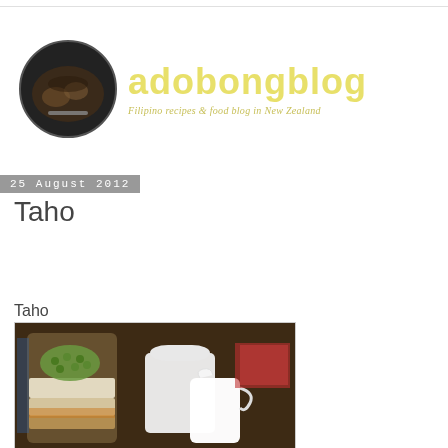[Figure (logo): Adobong Blog logo with circular food photo and yellow text reading 'adobongblog' with subtitle 'Filipino recipes & food blog in New Zealand']
25 August 2012
Taho
Taho
[Figure (photo): Photo of Taho - a Filipino sweet tofu dessert in a glass cup with sago pearls and syrup, alongside a white creamer/pitcher and a container of tofu in the background]